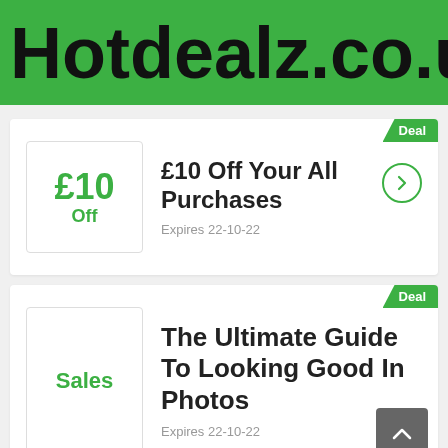Hotdealz.co.uk
Deal
£10 Off Your All Purchases
Expires 22-10-22
Deal
The Ultimate Guide To Looking Good In Photos
Expires 22-10-22